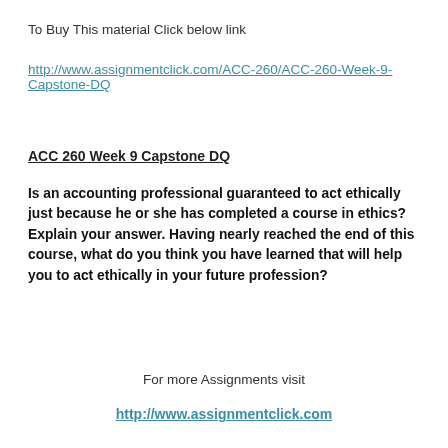To Buy This material Click below link
http://www.assignmentclick.com/ACC-260/ACC-260-Week-9-Capstone-DQ
ACC 260 Week 9 Capstone DQ
Is an accounting professional guaranteed to act ethically just because he or she has completed a course in ethics? Explain your answer. Having nearly reached the end of this course, what do you think you have learned that will help you to act ethically in your future profession?
For more Assignments visit
http://www.assignmentclick.com